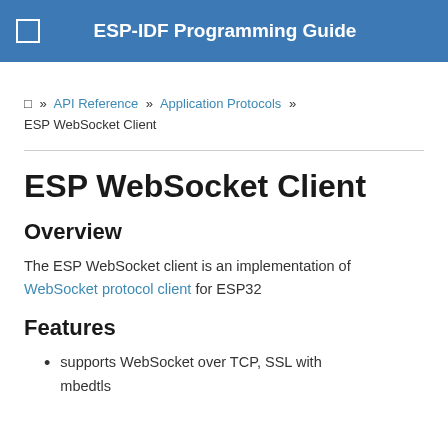ESP-IDF Programming Guide
⊡ » API Reference » Application Protocols » ESP WebSocket Client
ESP WebSocket Client
Overview
The ESP WebSocket client is an implementation of WebSocket protocol client for ESP32
Features
supports WebSocket over TCP, SSL with mbedtls